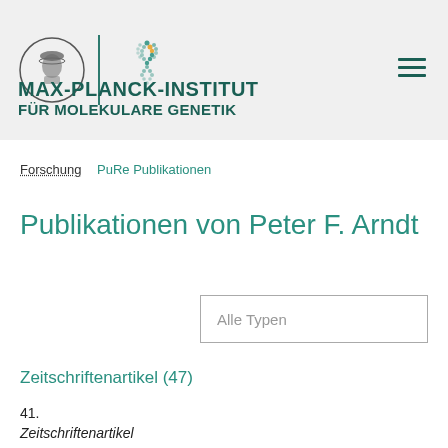MAX-PLANCK-INSTITUT FÜR MOLEKULARE GENETIK
Forschung   PuRe Publikationen
Publikationen von Peter F. Arndt
Alle Typen
Zeitschriftenartikel (47)
41.
Zeitschriftenartikel